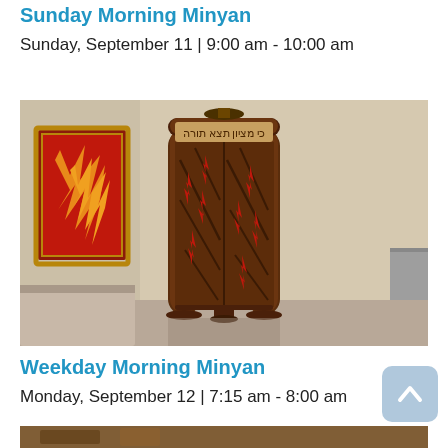Sunday Morning Minyan
Sunday, September 11 | 9:00 am - 10:00 am
[Figure (photo): Interior synagogue photo showing ornate wooden Torah ark doors with carved wooden panels displaying red flame-like accents and Hebrew inscription above. Decorative red stained glass artwork visible on the left wall. Granite or marble surface on the lower left.]
Weekday Morning Minyan
Monday, September 12 | 7:15 am - 8:00 am